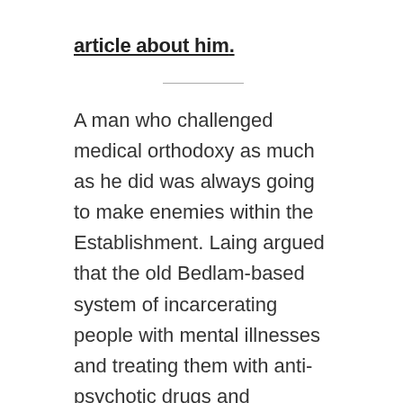article about him.
A man who challenged medical orthodoxy as much as he did was always going to make enemies within the Establishment. Laing argued that the old Bedlam-based system of incarcerating people with mental illnesses and treating them with anti-psychotic drugs and inhumane electric-shock treatment had contributed to people's psychological and emotional distress and was therefore part of the problem. With his beliefs in the power of